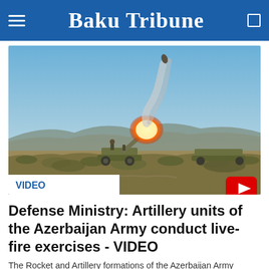Baku Tribune
[Figure (photo): Military artillery unit firing a rocket/shell in an open desert scrubland landscape under blue sky, with smoke and fire visible at the muzzle. A VIDEO label appears at the bottom left and a YouTube play button at the bottom right.]
Defense Ministry: Artillery units of the Azerbaijan Army conduct live-fire exercises - VIDEO
The Rocket and Artillery formations of the Azerbaijan Army conduct live-fire exercises in accordance with the combat